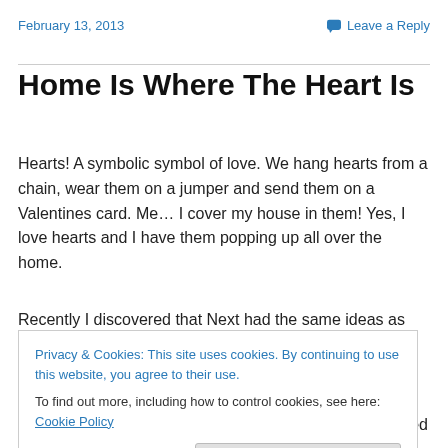February 13, 2013    Leave a Reply
Home Is Where The Heart Is
Hearts! A symbolic symbol of love. We hang hearts from a chain, wear them on a jumper and send them on a Valentines card. Me… I cover my house in them! Yes, I love hearts and I have them popping up all over the home.
Recently I discovered that Next had the same ideas as me
Privacy & Cookies: This site uses cookies. By continuing to use this website, you agree to their use.
To find out more, including how to control cookies, see here: Cookie Policy
items and found myself lusting after endless heart themed